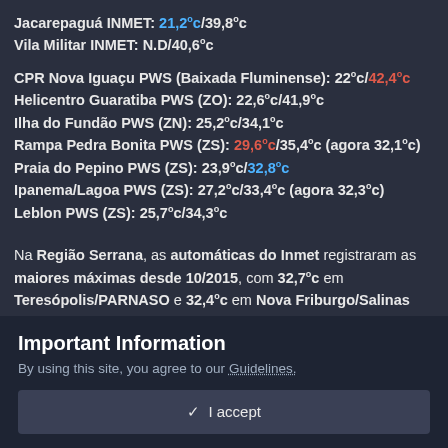Jacarepaguá INMET: 21,2°c/39,8°c
Vila Militar INMET: N.D/40,6°c
CPR Nova Iguaçu PWS (Baixada Fluminense): 22°c/42,4°c
Helicentro Guaratiba PWS (ZO): 22,6°c/41,9°c
Ilha do Fundão PWS (ZN): 25,2°c/34,1°c
Rampa Pedra Bonita PWS (ZS): 29,6°c/35,4°c (agora 32,1°c)
Praia do Pepino PWS (ZS): 23,9°c/32,8°c
Ipanema/Lagoa PWS (ZS): 27,2°c/33,4°c (agora 32,3°c)
Leblon PWS (ZS): 25,7°c/34,3°c
Na Região Serrana, as automáticas do Inmet registraram as maiores máximas desde 10/2015, com 32,7°c em Teresópolis/PARNASO e 32,4°c em Nova Friburgo/Salinas (no centro destas cidades, deve ter feito 34°c/35°c).
Edited October 3. 2020 at 01:16 AM by Wallace Rezende
Important Information
By using this site, you agree to our Guidelines.
✓ I accept